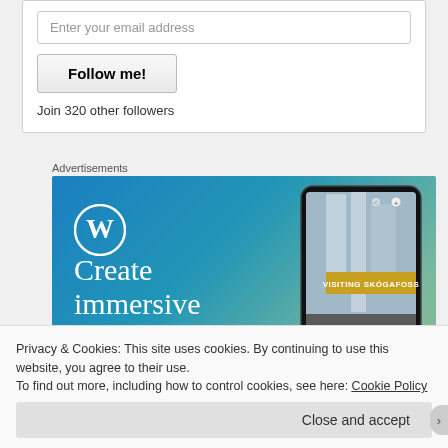Enter your email address
Follow me!
Join 320 other followers
Advertisements
[Figure (illustration): WordPress advertisement banner with gradient blue-green background, WordPress logo (W in circle), smartphone mockup showing a waterfall photo labeled 'VISITING SKÓGAFOSS', and text 'Create immersive stories']
Privacy & Cookies: This site uses cookies. By continuing to use this website, you agree to their use.
To find out more, including how to control cookies, see here: Cookie Policy
Close and accept